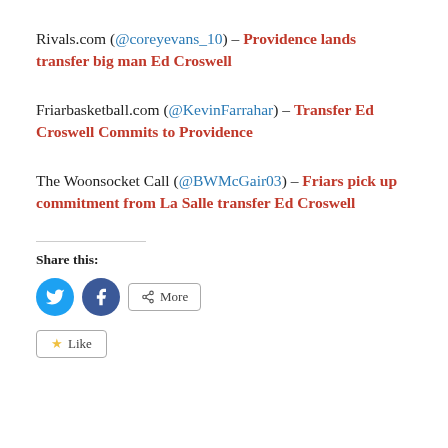Rivals.com (@coreyevans_10) – Providence lands transfer big man Ed Croswell
Friarbasketball.com (@KevinFarrahar) – Transfer Ed Croswell Commits to Providence
The Woonsocket Call (@BWMcGair03) – Friars pick up commitment from La Salle transfer Ed Croswell
Share this:
[Figure (other): Share buttons: Twitter (blue circle), Facebook (blue circle), More button, and Like button with star icon]